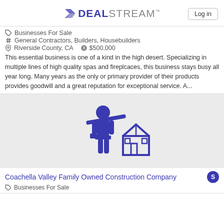DEALSTREAM™ Log in
Businesses For Sale
General Contractors, Builders, Housebuilders
Riverside County, CA  $500,000
This essential business is one of a kind in the high desert. Specializing in multiple lines of high quality spas and fireplcaces, this business stays busy all year long. Many years as the only or primary provider of their products provides goodwill and a great reputation for exceptional service. A...
[Figure (illustration): Construction worker icon holding lumber over shoulder with house frame outline illustration in dark purple/indigo on light gray background]
Coachella Valley Family Owned Construction Company